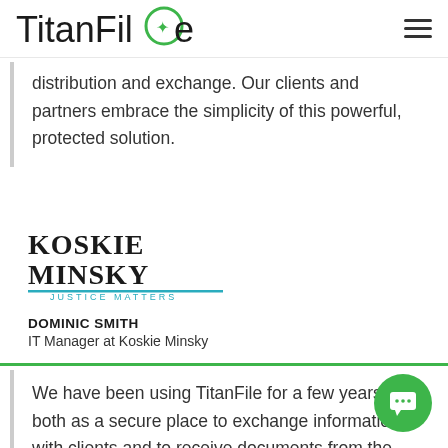[Figure (logo): TitanFile logo with green circular star icon]
distribution and exchange. Our clients and partners embrace the simplicity of this powerful, protected solution.
[Figure (logo): Koskie Minsky — Justice Matters law firm logo]
DOMINIC SMITH
IT Manager at Koskie Minsky
We have been using TitanFile for a few years both as a secure place to exchange information with clients and to receive documents from the public. The service is easy to use, inexpensive